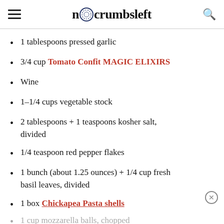nocrumbsleft
1 tablespoons pressed garlic
3/4 cup Tomato Confit MAGIC ELIXIRS
Wine
1–1/4 cups vegetable stock
2 tablespoons + 1 teaspoons kosher salt, divided
1/4 teaspoon red pepper flakes
1 bunch (about 1.25 ounces) + 1/4 cup fresh basil leaves, divided
1 box Chickapea Pasta shells
1 cup mozzarella balls, chopped